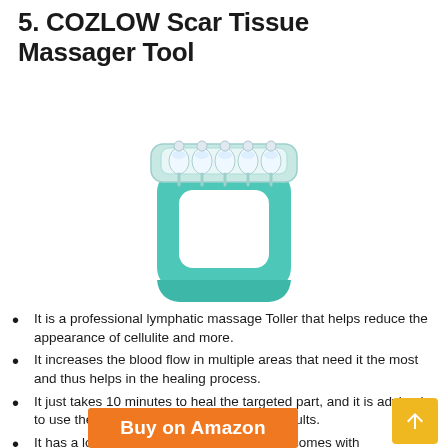5. COZLOW Scar Tissue Massager Tool
[Figure (photo): A teal/mint colored handheld massager tool with a square handle and a row of silver/white roller balls on top, used for scar tissue and lymphatic massage.]
It is a professional lymphatic massage Toller that helps reduce the appearance of cellulite and more.
It increases the blood flow in multiple areas that need it the most and thus helps in the healing process.
It just takes 10 minutes to heal the targeted part, and it is advised to use the massager on a daily basis for results.
It has a long-lasting effect on the body and comes with guaranteed customer satisfaction.
Buy on Amazon